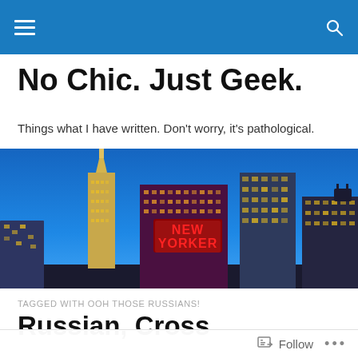Navigation bar with menu and search icons
No Chic. Just Geek.
Things what I have written. Don't worry, it's pathological.
[Figure (photo): New York City skyline at dusk showing the Empire State Building and the New Yorker hotel sign lit in red neon]
TAGGED WITH OOH THOSE RUSSIANS!
Russian, Cross
Follow  ...